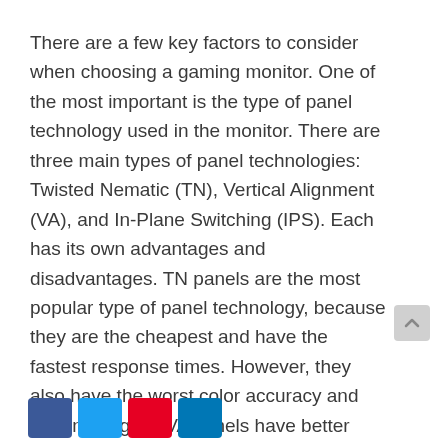There are a few key factors to consider when choosing a gaming monitor. One of the most important is the type of panel technology used in the monitor. There are three main types of panel technologies: Twisted Nematic (TN), Vertical Alignment (VA), and In-Plane Switching (IPS). Each has its own advantages and disadvantages. TN panels are the most popular type of panel technology, because they are the cheapest and have the fastest response times. However, they also have the worst color accuracy and viewing angles. VA panels have better color accuracy and viewing angles than TN panels.